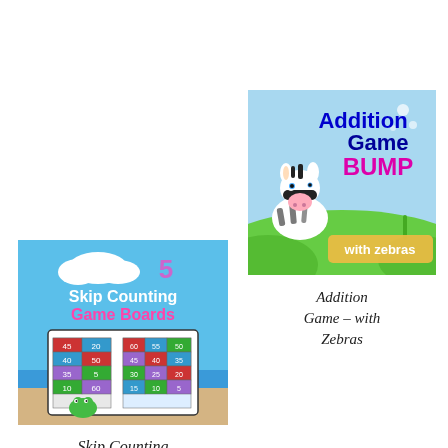[Figure (illustration): Skip Counting Game Boards product cover showing a frog near water with numbered game board grids, title reads '5 Skip Counting Game Boards']
Skip Counting
[Figure (illustration): Addition Game BUMP with zebras product cover showing a cartoon zebra character with blue sky background, title reads 'Addition Game BUMP with zebras']
Addition Game – with Zebras